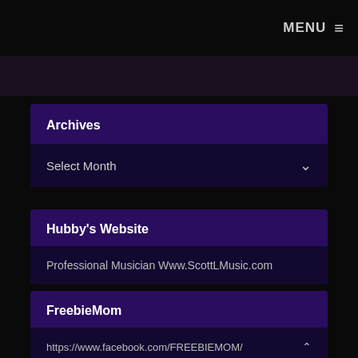MENU ≡
Archives
Select Month
Hubby's Website
Professional Musician Www.ScottLMusic.com
FreebieMom
https://www.facebook.com/FREEBIEMOM/